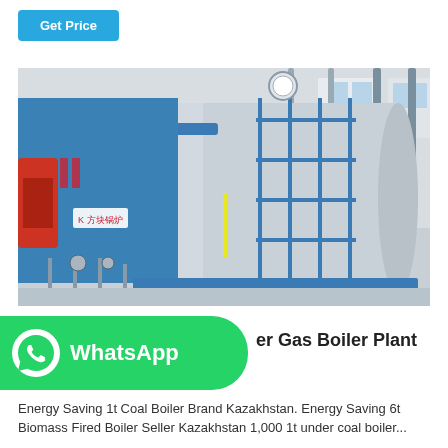Get Price
[Figure (photo): Industrial gas boiler plant with large horizontal cylindrical boiler tank, blue casing on the left with Chinese branding, red burner components, scaffolding pipes on right side, inside a white industrial building.]
WhatsApp
er Gas Boiler Plant
Energy Saving 1t Coal Boiler Brand Kazakhstan. Energy Saving 6t Biomass Fired Boiler Seller Kazakhstan 1,000 1t under coal boiler...